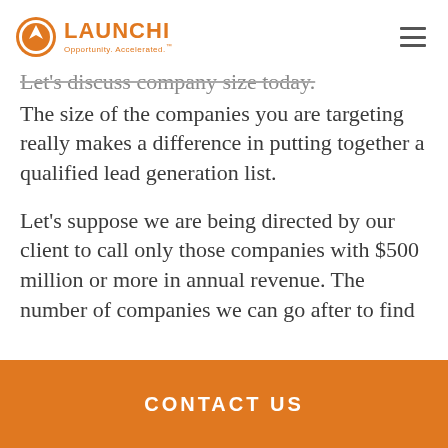LAUNCHI - Opportunity. Accelerated.
Let's discuss company size today.
The size of the companies you are targeting really makes a difference in putting together a qualified lead generation list.
Let's suppose we are being directed by our client to call only those companies with $500 million or more in annual revenue. The number of companies we can go after to find
CONTACT US